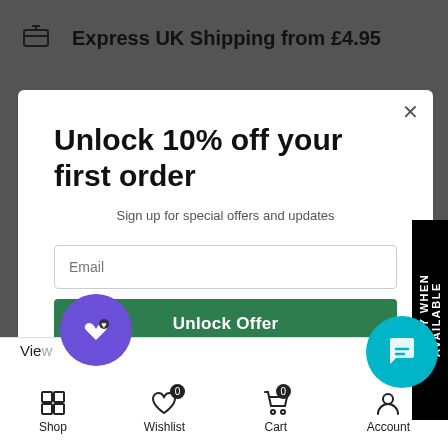[Figure (screenshot): E-commerce website background showing shipping info rows and bottom navigation bar with modal overlay]
Unlock 10% off your first order
Sign up for special offers and updates
Email
Unlock Offer
By signing up, you agree to receive email marketing
No, thanks
NOTIFY WHEN AVAILABLE
Express UK Shipping from £4.95
Fast & Reliable Delivery
Shop
Wishlist
Cart
Account